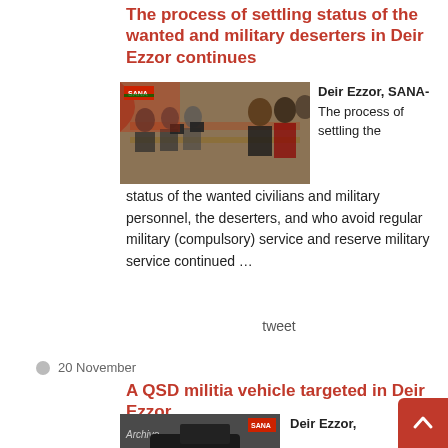The process of settling status of the wanted and military deserters in Deir Ezzor continues
[Figure (photo): Men sitting at long tables with laptops processing documents, crowded room with people standing in line]
Deir Ezzor, SANA- The process of settling the status of the wanted civilians and military personnel, the deserters, and who avoid regular military (compulsory) service and reserve military service continued …
tweet
20 November
A QSD militia vehicle targeted in Deir Ezzor
[Figure (photo): Archive photo showing a dark military vehicle, SANA logo visible]
Deir Ezzor,